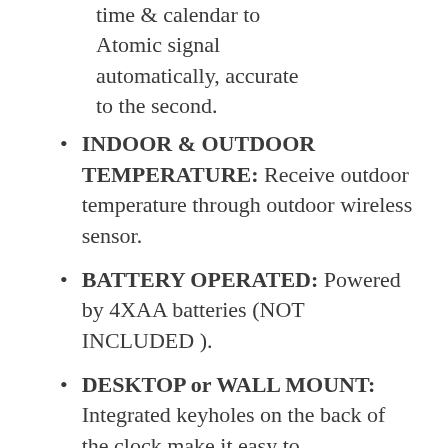time & calendar to Atomic signal automatically, accurate to the second.
INDOOR & OUTDOOR TEMPERATURE: Receive outdoor temperature through outdoor wireless sensor.
BATTERY OPERATED: Powered by 4XAA batteries (NOT INCLUDED ).
DESKTOP or WALL MOUNT: Integrated keyholes on the back of the clock make it easy to